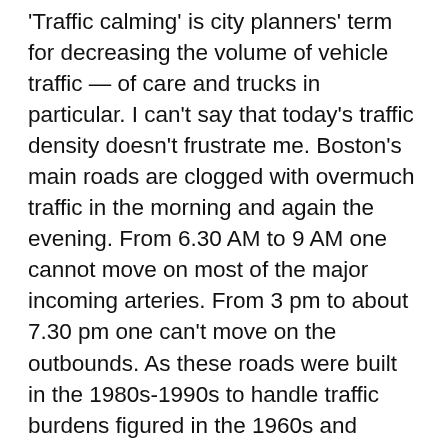'Traffic calming' is city planners' term for decreasing the volume of vehicle traffic — of care and trucks in particular. I can't say that today's traffic density doesn't frustrate me. Boston's main roads are clogged with overmuch traffic in the morning and again the evening. From 6.30 AM to 9 AM one cannot move on most of the major incoming arteries. From 3 pm to about 7.30 pm one can't move on the outbounds. As these roads were built in the 1980s-1990s to handle traffic burdens figured in the 1960s and 1970s, it isn't very surprising that 2018 traffic makes them almost unusable. Boston in the late 1960s and the 1970s was a city from which people were moving away, out to the suburbs and the by-pass roads where the malls were built and the